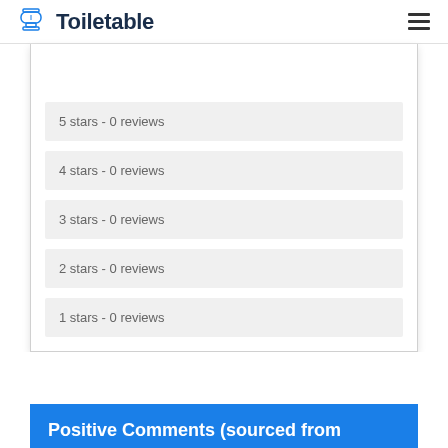Toiletable
5 stars - 0 reviews
4 stars - 0 reviews
3 stars - 0 reviews
2 stars - 0 reviews
1 stars - 0 reviews
Positive Comments (sourced from